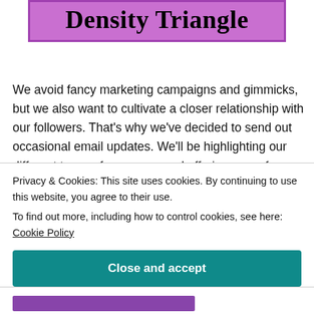Density Triangle
We avoid fancy marketing campaigns and gimmicks, but we also want to cultivate a closer relationship with our followers. That's why we've decided to send out occasional email updates. We'll be highlighting our different types of resources and offering some free teaching activities. The first issue of our Resource Spotlight is coming soon and you can receive three
Privacy & Cookies: This site uses cookies. By continuing to use this website, you agree to their use.
To find out more, including how to control cookies, see here: Cookie Policy
Close and accept